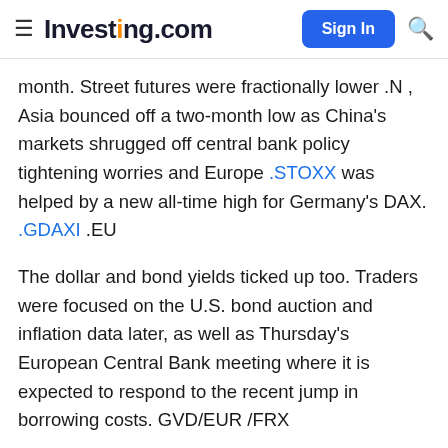Investing.com
month. Street futures were fractionally lower .N , Asia bounced off a two-month low as China's markets shrugged off central bank policy tightening worries and Europe .STOXX was helped by a new all-time high for Germany's DAX. .GDAXI .EU
The dollar and bond yields ticked up too. Traders were focused on the U.S. bond auction and inflation data later, as well as Thursday's European Central Bank meeting where it is expected to respond to the recent jump in borrowing costs. GVD/EUR /FRX
Mikhail Zverev, head of global equities at Aviva (LON: AV ) Investors, said Tuesday's wild moves in big U.S. tech underscored how volatile markets, which are increasingly